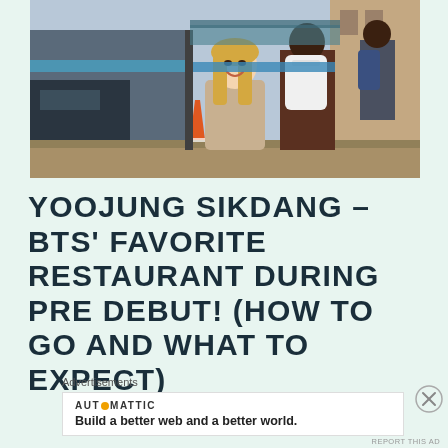[Figure (photo): Photo of a smiling young woman with long blonde hair wearing a beige coat, standing outside near a bus or transit vehicle with blue stripe, with other people in background carrying backpacks, urban street scene in Korea]
YOOJUNG SIKDANG – BTS' FAVORITE RESTAURANT DURING PRE DEBUT! (HOW TO GO AND WHAT TO EXPECT)
Advertisements
AUTOMATTIC
Build a better web and a better world.